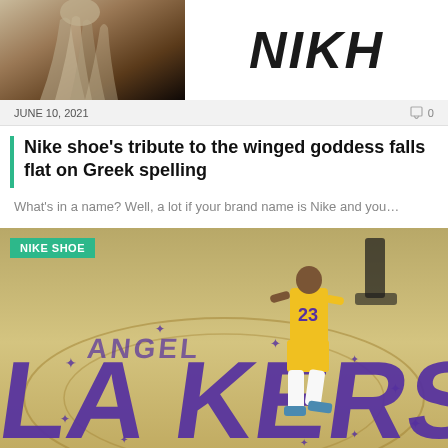[Figure (photo): Statue (Nike goddess) on dark background, left side of article header]
[Figure (logo): Large bold italic text 'NIKH' on white background]
JUNE 10, 2021   0
Nike shoe’s tribute to the winged goddess falls flat on Greek spelling
What’s in a name? Well, a lot if your brand name is Nike and you…
[Figure (photo): Basketball player wearing LA Lakers #23 yellow jersey walking on the Lakers court logo. Tag reads NIKE SHOE.]
JUNE 8, 2021   0